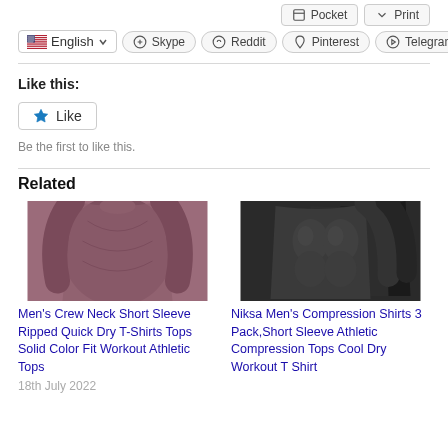[Figure (screenshot): UI showing Pocket and Print buttons at top, then Skype, Reddit, Pinterest, Telegram social share buttons, then an English language selector dropdown]
Like this:
[Figure (screenshot): Like button with star icon]
Be the first to like this.
Related
[Figure (photo): Men's crew neck short sleeve ripped quick dry t-shirt in mauve/maroon color]
Men's Crew Neck Short Sleeve Ripped Quick Dry T-Shirts Tops Solid Color Fit Workout Athletic Tops
18th July 2022
[Figure (photo): Niksa Men's compression shirts 3 pack in dark grey/black color]
Niksa Men's Compression Shirts 3 Pack,Short Sleeve Athletic Compression Tops Cool Dry Workout T Shirt